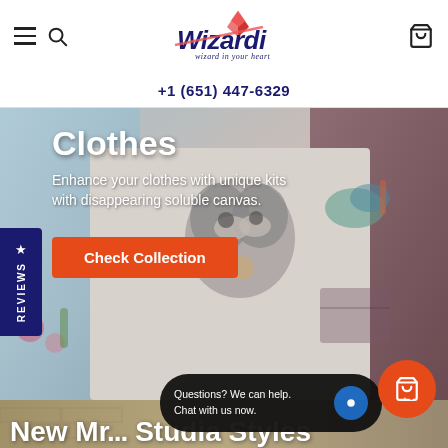[Figure (logo): Wizardi logo — wizard hat with diamond, stylized italic text 'Wizardi' in navy blue with red slash, tagline 'wizard in your heart']
+1 (651) 447-6329
[Figure (photo): Hero banner photo of embroidered clothes — gray sweatshirt with raccoon cross-stitch, blue shirt with floral embroidery, dark burgundy garment with bird embroidery. Text overlay: 'Clothes — Enhance your clothes with unique kits with disappearing soluble canvas.' and a red 'Check Collection' button.]
Clothes
Enhance your clothes with unique kits with disappearing soluble canvas.
Check Collection
[Figure (photo): Bottom section showing partial text 'New Mr...' and cross-stitch embroidery on brick-textured background, partially covered by chat popup]
New Mr... Studia Styles
Questions? We can help. Chat with us now.